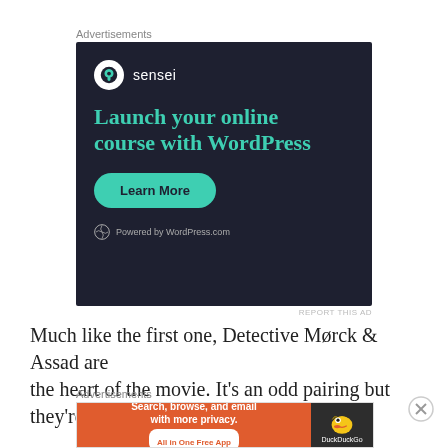Advertisements
[Figure (screenshot): Sensei advertisement banner on dark background. Shows sensei logo, tagline 'Launch your online course with WordPress', a 'Learn More' button, and 'Powered by WordPress.com' footer.]
REPORT THIS AD
Much like the first one, Detective Mørck & Assad are the heart of the movie. It's an odd pairing but they're
Advertisements
[Figure (screenshot): DuckDuckGo advertisement banner: orange section with text 'Search, browse, and email with more privacy. All in One Free App' and dark section with DuckDuckGo duck logo and brand name.]